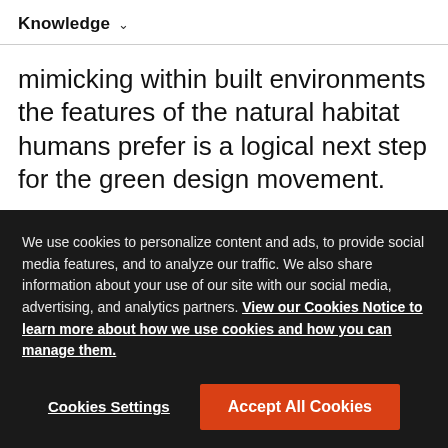Knowledge ▾
mimicking within built environments the features of the natural habitat humans prefer is a logical next step for the green design movement.
“You can design a totally sustainable building that meets all the LEED standards but ignores the
We use cookies to personalize content and ads, to provide social media features, and to analyze our traffic. We also share information about your use of our site with our social media, advertising, and analytics partners. View our Cookies Notice to learn more about how we use cookies and how you can manage them.
Cookies Settings
Accept All Cookies